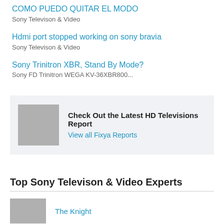COMO PUEDO QUITAR EL MODO
Sony Televison & Video
Hdmi port stopped working on sony bravia
Sony Televison & Video
Sony Trinitron XBR, Stand By Mode?
Sony FD Trinitron WEGA KV-36XBR800...
[Figure (infographic): Advertisement banner with gray image placeholder and text: Check Out the Latest HD Televisions Report, View all Fixya Reports]
Top Sony Televison & Video Experts
The Knight